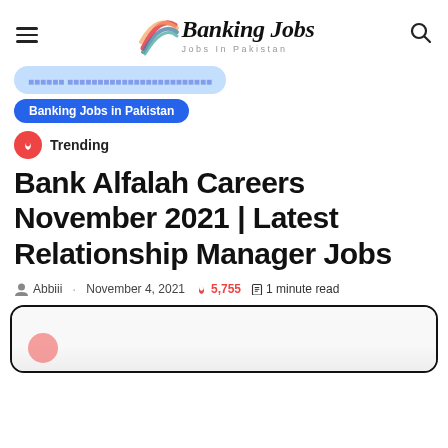Banking Jobs – Jobs in Pakistan
Banking Jobs in Pakistan
Trending
Bank Alfalah Careers November 2021 | Latest Relationship Manager Jobs
Abbiii · November 4, 2021  5,755  1 minute read
[Figure (screenshot): Partial view of article image at bottom of page]